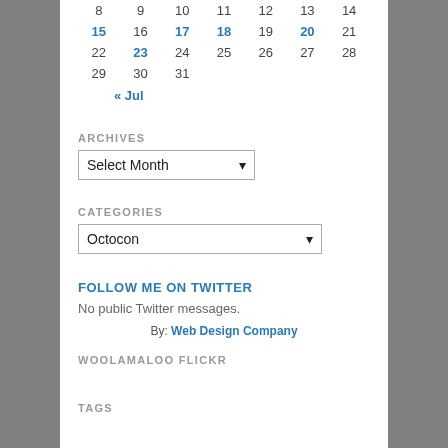| 8 | 9 | 10 | 11 | 12 | 13 | 14 |
| 15 | 16 | 17 | 18 | 19 | 20 | 21 |
| 22 | 23 | 24 | 25 | 26 | 27 | 28 |
| 29 | 30 | 31 |  |  |  |  |
| « Jul |  |  |  |  |  |  |
ARCHIVES
Select Month (dropdown)
CATEGORIES
Octocon (dropdown)
FOLLOW ME ON TWITTER
No public Twitter messages.
By: Web Design Company
WOOLAMALOO FLICKR
TAGS